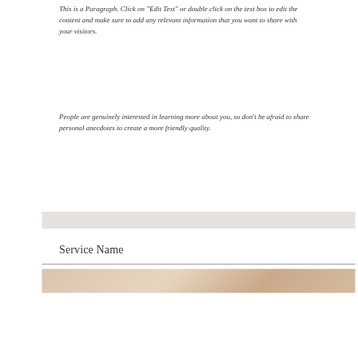This is a Paragraph. Click on "Edit Text" or double click on the text box to edit the content and make sure to add any relevant information that you want to share with your visitors.
People are genuinely interested in learning more about you, so don't be afraid to share personal anecdotes to create a more friendly quality.
Service Name
[Figure (photo): Partial photo visible at bottom of page, warm beige/tan tones]